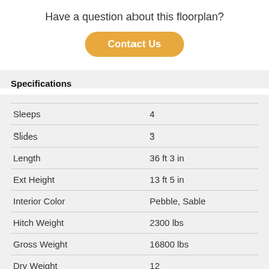Have a question about this floorplan?
Contact Us
Specifications
|  |  |
| --- | --- |
| Sleeps | 4 |
| Slides | 3 |
| Length | 36 ft 3 in |
| Ext Height | 13 ft 5 in |
| Interior Color | Pebble, Sable |
| Hitch Weight | 2300 lbs |
| Gross Weight | 16800 lbs |
| Dry Weight | 12... |
| Fresh Water Capacity | 115 gals |